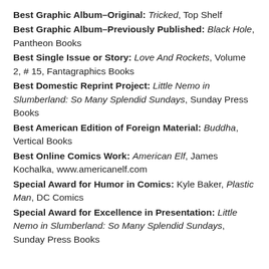Best Graphic Album–Original: Tricked, Top Shelf
Best Graphic Album–Previously Published: Black Hole, Pantheon Books
Best Single Issue or Story: Love And Rockets, Volume 2, # 15, Fantagraphics Books
Best Domestic Reprint Project: Little Nemo in Slumberland: So Many Splendid Sundays, Sunday Press Books
Best American Edition of Foreign Material: Buddha, Vertical Books
Best Online Comics Work: American Elf, James Kochalka, www.americanelf.com
Special Award for Humor in Comics: Kyle Baker, Plastic Man, DC Comics
Special Award for Excellence in Presentation: Little Nemo in Slumberland: So Many Splendid Sundays, Sunday Press Books